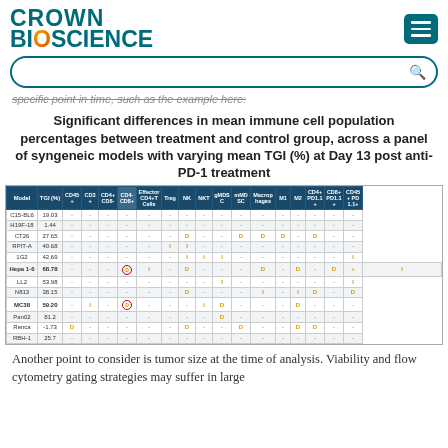Crown Bioscience
specific point in time, such as the example here:
Significant differences in mean immune cell population percentages between treatment and control group, across a panel of syngeneic models with varying mean TGI (%) at Day 13 post anti-PD-1 treatment
| Model | TGI (%) | CD45+ | CD3+ | CD4+ CD8- | CD4- CD8+ | Effector CD4+T Cells | Treg | NK | NKT | gMDSC | mMDSC | Macrophages | M1 | M2 | CD4+ PD1+ | CD8+ PD1+ | CD45+ PD1+ |
| --- | --- | --- | --- | --- | --- | --- | --- | --- | --- | --- | --- | --- | --- | --- | --- | --- | --- |
| C15-BL6 | 19.03 | - | - | - | - | - | - | - | - | - | - | - | - | - | - | - | - |
| H19F-18 | 1.44 | - | - | - | - | - | - | - | - | - | - | - | - | - | - | - | - |
| CT26 | 27.65 | - | - | - | - | - | - | D | - | - | D | D | D | - | D | - | - |
| RPIT-A | 40.68 | - | - | - | - | - | I | I | - | - | - | - | - | - | - | - | - |
| 1G2 | 42.69 | - | - | - | - | - | - | I | I | I | - | - | - | - | - | - | - | I |
| Hepa 1-6 | 68.78 | - | - | - | (circle) | I | - | D | - | - | - | D | - | D | - | D | + | I |
| LL2 | 53.98 | - | - | - | - | - | - | - | - | I | - | - | - | - | - | - | - | I |
| N813 | 38.15 | - | - | - | - | - | - | D | - | - | - | I | - | I | D | - | D | - |
| MC38 | 59.20 | - | I | - | (circle) | - | - | - | I | D | - | - | - | D | - | - | - | - |
| Pan02 | 81.2 | - | - | - | - | - | - | - | - | D | - | - | - | - | - | - | - | - |
| Renca | -1.73 | D | - | - | - | - | - | D | - | - | D | - | - | D | D | - | - | - |
| RBH-1 | 25.7 | - | - | - | - | - | - | - | - | - | - | - | - | - | - | - | - | - |
Another point to consider is tumor size at the time of analysis. Viability and flow cytometry gating strategies may suffer in large